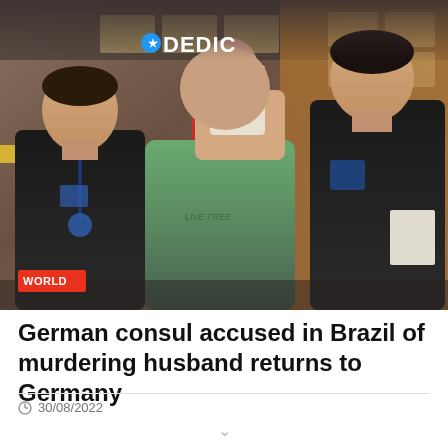[Figure (photo): Photo of a man in a green t-shirt covering his face with his hand being escorted by law enforcement officers in black jackets. A DEDIC sign is visible in the background. A WORLD category tag is overlaid in the bottom left corner.]
German consul accused in Brazil of murdering husband returns to Germany
30/08/2022